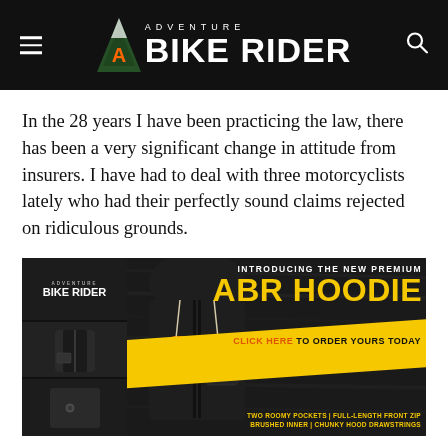Adventure Bike Rider
In the 28 years I have been practicing the law, there has been a very significant change in attitude from insurers. I have had to deal with three motorcyclists lately who had their perfectly sound claims rejected on ridiculous grounds.
[Figure (illustration): Adventure Bike Rider hoodie advertisement banner. Shows a dark hoodie on a wooden background with text: INTRODUCING THE NEW PREMIUM ABR HOODIE CLICK HERE TO ORDER YOURS TODAY. TWO ROOMY POCKETS | FULL-LENGTH FRONT ZIP BRUSHED INNER | CHUNKY HOOD DRAWSTRINGS]